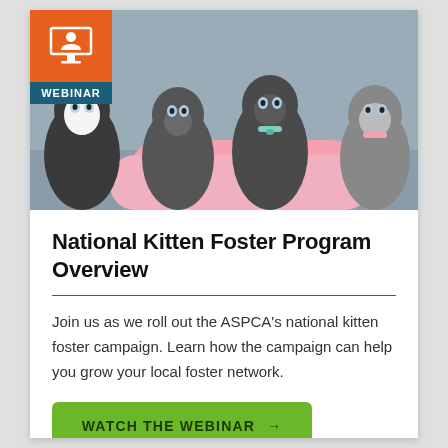[Figure (photo): Four gray and white kittens looking at the camera, sitting on a pink fluffy surface. An orange square badge with a webinar presenter icon and a teal 'WEBINAR' label overlay the bottom-left of the photo.]
National Kitten Foster Program Overview
Join us as we roll out the ASPCA’s national kitten foster campaign. Learn how the campaign can help you grow your local foster network.
WATCH THE WEBINAR →